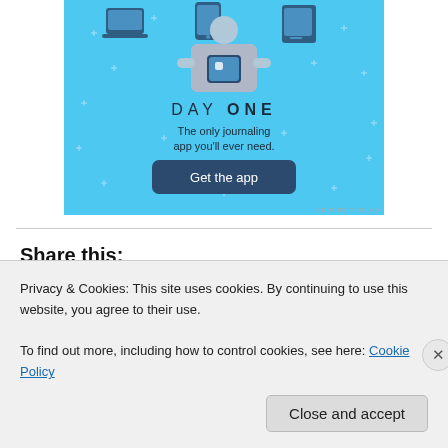[Figure (illustration): Day One journaling app advertisement with light blue background showing a person holding a phone with app icons and the text DAY ONE - The only journaling app you'll ever need, with a Get the app button]
Share this:
Privacy & Cookies: This site uses cookies. By continuing to use this website, you agree to their use.
To find out more, including how to control cookies, see here: Cookie Policy